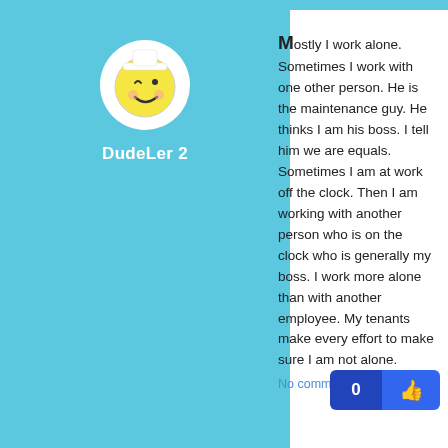[Figure (illustration): User avatar: cartoon smiley face with a white chef/sailor hat on light blue circular background]
DudeLer 2
Mostly I work alone. Sometimes I work with one other person. He is the maintenance guy. He thinks I am his boss. I tell him we are equals. Sometimes I am at work off the clock. Then I am working with another person who is on the clock who is generally my boss. I work more alone than with another employee. My tenants make every effort to make sure I am not alone.
No comments